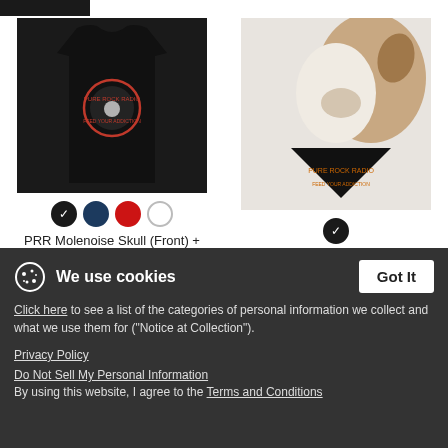[Figure (photo): Black men's premium tank top with skull circle logo graphic]
[Figure (photo): Dog wearing black bandana with skull graphic, brown and white dog]
PRR Molenoise Skull (Front) + Circle Logo (Back) - Men's Premium Tank
$30.49
PRR Molenoise Skull (Front Only) - Dog Bandana
$15.99
We use cookies
Click here to see a list of the categories of personal information we collect and what we use them for ("Notice at Collection").
Privacy Policy
Do Not Sell My Personal Information
By using this website, I agree to the Terms and Conditions